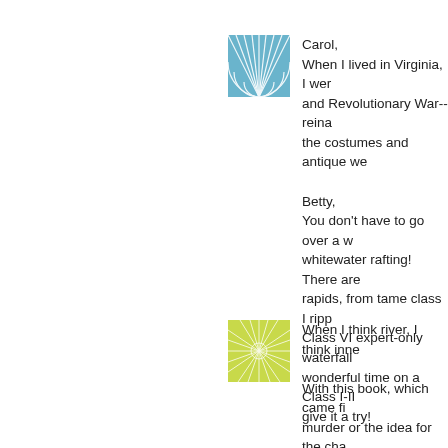[Figure (illustration): Blue square avatar with white fan/shell pattern lines]
Carol,
When I lived in Virginia, I went to Civil War and Revolutionary War--reina... the costumes and antique we...
Betty,
You don't have to go over a w... whitewater rafting! There are rapids, from tame class I ripp... Class VI expert-only waterfall... wonderful time on a Class I-II... give it a try!
I'll be monitoring and respond... day, folks, so keep them com...
Posted by: Beth Groundwater | Ma...
[Figure (illustration): Yellow-green square avatar with radiating leaf/burst pattern]
When I think river, I think inne...
With this book, which came fi... murder or the idea for the cha...